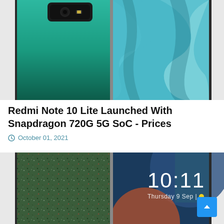[Figure (photo): Two Redmi Note 10 Lite smartphones side by side. Left phone shows teal/green back with camera module. Right phone shows a blue marble/swirl wallpaper on screen.]
Redmi Note 10 Lite Launched With Snapdragon 720G 5G SoC - Prices
October 01, 2021
[Figure (photo): Two Redmi Note 10 Lite smartphones side by side. Left phone shows a dark green speckled back cover. Right phone shows a lock screen with time 10:11, Thursday 9 Sep and a yellow dot.]